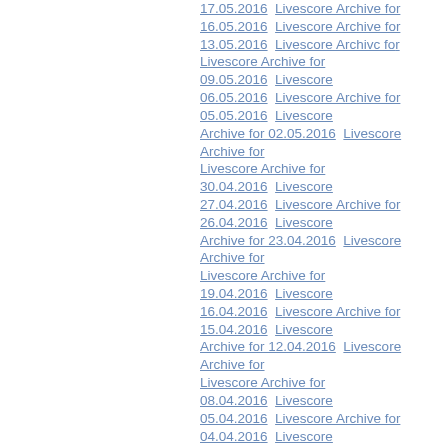17.05.2016  Livescore Archive for 16.05.2016  Livescore Archive for 13.05.2016  Livescore Archive for 12.05.2016  Livescore Archive for 09.05.2016  Livescore Archive for 06.05.2016  Livescore Archive for 05.05.2016  Livescore Archive for 02.05.2016  Livescore Archive for 30.04.2016  Livescore Archive for 27.04.2016  Livescore Archive for 26.04.2016  Livescore Archive for 23.04.2016  Livescore Archive for 22.04.2016  Livescore Archive for 19.04.2016  Livescore Archive for 16.04.2016  Livescore Archive for 15.04.2016  Livescore Archive for 12.04.2016  Livescore Archive for 11.04.2016  Livescore Archive for 08.04.2016  Livescore Archive for 05.04.2016  Livescore Archive for 04.04.2016  Livescore Archive for 01.04.2016  Livescore Archive for 31.03.2016  Livescore Archive for 28.03.2016  Livescore Archive for 27.03.2016  Livescore Archive for 24.03.2016  Livescore Archive for 23.03.2016  Livescore Archive for 20.03.2016  Livescore Archive for 17.03.2016  Livescore Archive for 16.03.2016  Livescore Archive for 13.03.2016  Livescore Archive for 12.03.2016  Livescore Archive for 09.03.2016  Livescore Archive for 06.03.2016  Livescore Archive for 05.03.2016  Livescore Archive for 02.03.2016  Livescore Archive for 01.03.2016  Livescore Archive for 29.02.2016  Livescore Archive for 26.02.2016  Livescore Archive for 25.02.2016